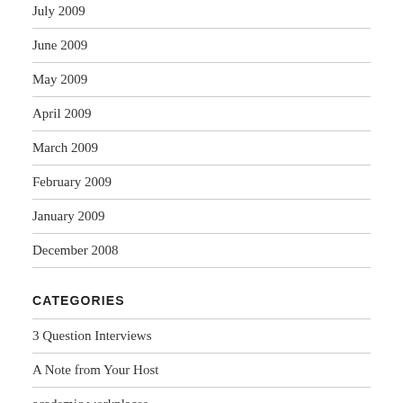July 2009
June 2009
May 2009
April 2009
March 2009
February 2009
January 2009
December 2008
CATEGORIES
3 Question Interviews
A Note from Your Host
academic workplaces
advertising and marketing
animals